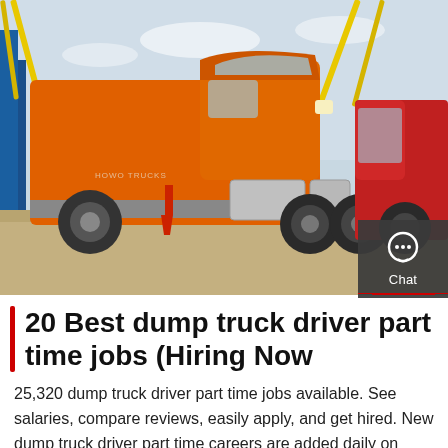[Figure (photo): Large orange semi truck / tractor unit parked in a lot with red trucks and yellow cranes in the background. Industrial outdoor setting with concrete ground.]
20 Best dump truck driver part time jobs (Hiring Now
25,320 dump truck driver part time jobs available. See salaries, compare reviews, easily apply, and get hired. New dump truck driver part time careers are added daily on SimplyHired.com. The low-stress way to find